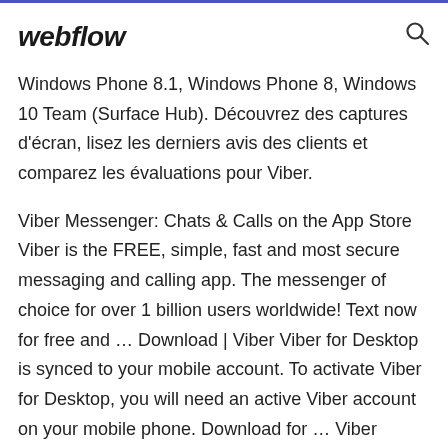webflow
Windows Phone 8.1, Windows Phone 8, Windows 10 Team (Surface Hub). Découvrez des captures d'écran, lisez les derniers avis des clients et comparez les évaluations pour Viber.
Viber Messenger: Chats & Calls on the App Store Viber is the FREE, simple, fast and most secure messaging and calling app. The messenger of choice for over 1 billion users worldwide! Text now for free and … Download | Viber Viber for Desktop is synced to your mobile account. To activate Viber for Desktop, you will need an active Viber account on your mobile phone. Download for … Viber 11.5.0.6 for Android - Download Viber, which was originally